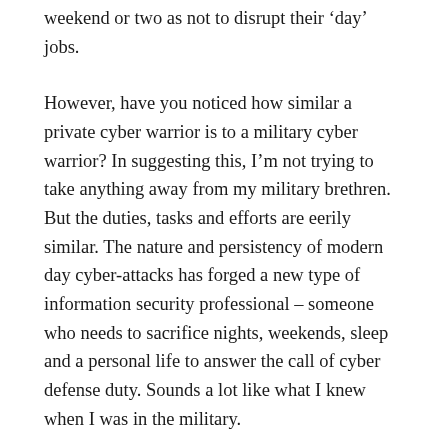weekend or two as not to disrupt their 'day' jobs.
However, have you noticed how similar a private cyber warrior is to a military cyber warrior? In suggesting this, I'm not trying to take anything away from my military brethren. But the duties, tasks and efforts are eerily similar. The nature and persistency of modern day cyber-attacks has forged a new type of information security professional – someone who needs to sacrifice nights, weekends, sleep and a personal life to answer the call of cyber defense duty. Sounds a lot like what I knew when I was in the military.
First, let's put things into perspective. As 2012 came to a close it became clear that this past year would no doubt go down as epic in the memory books of information security professionals. If 2011 had a fanatical pace, 2012 was simply frenetic.  Also, if the relative efficacy of these attacks is any guide, then hold onto your hats for 2013, which has the